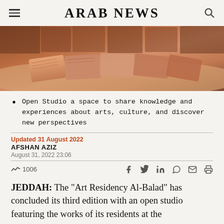ARAB NEWS
[Figure (photo): Close-up photo of terracotta or clay artworks/tiles displayed on a table in an art studio setting]
Open Studio a space to share knowledge and experiences about arts, culture, and discover new perspectives
Updated 31 August 2022
AFSHAN AZIZ
August 31, 2022 23:06
1006
JEDDAH: The “Art Residency Al-Balad” has concluded its third edition with an open studio featuring the works of its residents at the